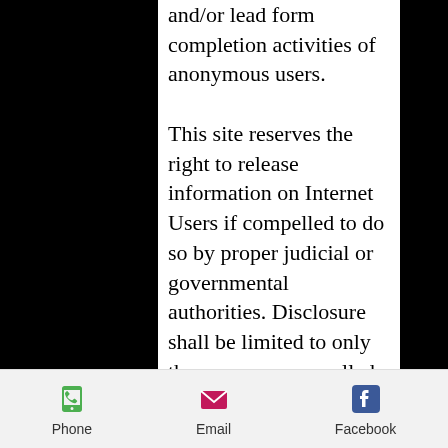and/or lead form completion activities of anonymous users.
This site reserves the right to release information on Internet Users if compelled to do so by proper judicial or governmental authorities. Disclosure shall be limited to only those we are compelled to disclose to. At present, all information processing occurs in the United States.
This Site uses cookies to keep track of session IDs. A cookie is a small piece of information stored by a web server on your computer's hard drive. Any cookie in use by our server is temporary and will be removed when
Phone  Email  Facebook